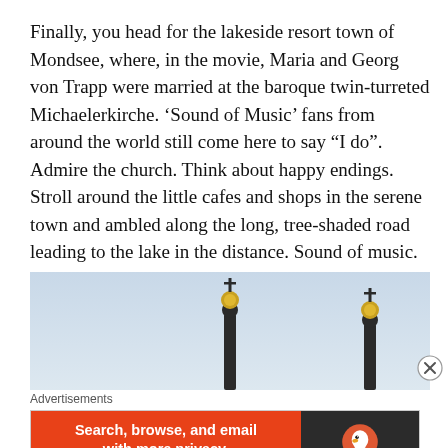Finally, you head for the lakeside resort town of Mondsee, where, in the movie, Maria and Georg von Trapp were married at the baroque twin-turreted Michaelerkirche. 'Sound of Music' fans from around the world still come here to say "I do". Admire the church. Think about happy endings. Stroll around the little cafes and shops in the serene town and ambled along the long, tree-shaded road leading to the lake in the distance. Sound of music. Sound of silence. Can't you just buy a house and live here forever?
[Figure (photo): Photograph of the twin turrets of Michaelerkirche church against a pale sky, showing two dark baroque spires topped with golden orbs and crosses.]
Advertisements
[Figure (screenshot): DuckDuckGo advertisement banner: left red section reads 'Search, browse, and email with more privacy. All in One Free App'; right dark section shows DuckDuckGo duck logo and brand name.]